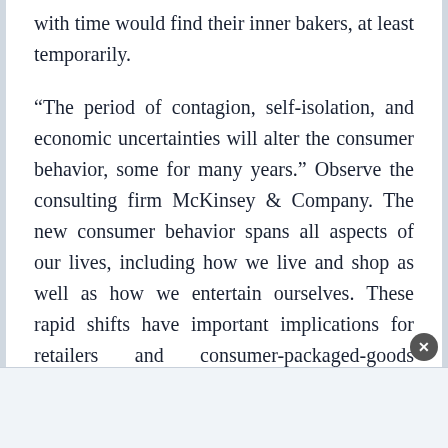with time would find their inner bakers, at least temporarily.
“The period of contagion, self-isolation, and economic uncertainties will alter the consumer behavior, some for many years.” Observe the consulting firm McKinsey & Company. The new consumer behavior spans all aspects of our lives, including how we live and shop as well as how we entertain ourselves. These rapid shifts have important implications for retailers and consumer-packaged-goods companies.”
Will these changes be permanent or will they return to previous patterns once the restrictions